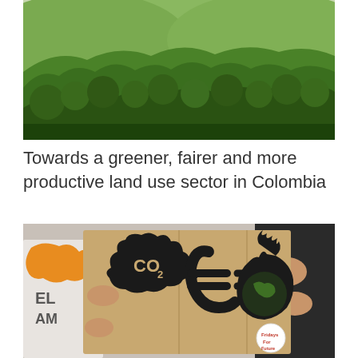[Figure (photo): Aerial or hillside view of dense green tropical forest/jungle with lush vegetation covering steep terrain]
Towards a greener, fairer and more productive land use sector in Colombia
[Figure (photo): Climate protest: people holding a cardboard sign painted with CO2 + (euro symbol) = burning earth globe graphic. Text partially visible on shirt in background reads partial letters.]